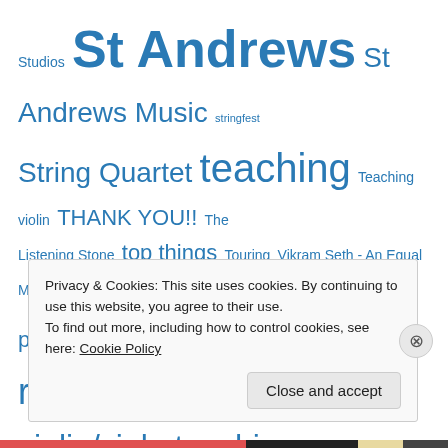Studios St Andrews St Andrews Music stringfest String Quartet teaching Teaching violin THANK YOU!! The Listening Stone top things Touring Vikram Seth - An Equal Music Viola Viola playing viola playing: technical issues Viola recital violin/viola teaching
Categories
Alexander technique
Articles
Privacy & Cookies: This site uses cookies. By continuing to use this website, you agree to their use.
To find out more, including how to control cookies, see here: Cookie Policy
Close and accept